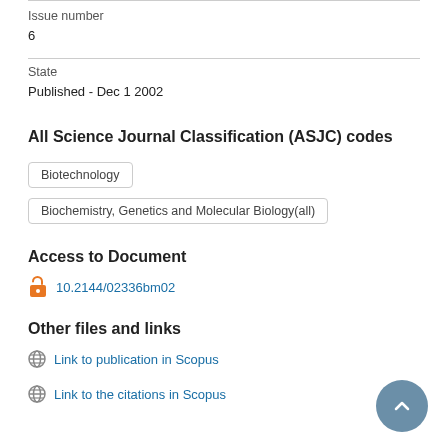Issue number
6
State
Published - Dec 1 2002
All Science Journal Classification (ASJC) codes
Biotechnology
Biochemistry, Genetics and Molecular Biology(all)
Access to Document
10.2144/02336bm02
Other files and links
Link to publication in Scopus
Link to the citations in Scopus